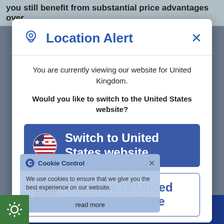you still benefit from substantial price advantages over
[Figure (screenshot): Location Alert modal dialog box with blue header showing a location pin icon and 'Location Alert' title, close X button. Body text: 'You are currently viewing our website for United Kingdom. Would you like to switch to the United States website?' Two buttons: 'Switch to United States website' (blue, with US flag), 'Continue to United Kingdom website' (outlined, with UK flag). A Cookie Control overlay is partially visible on top of the second button.]
You are currently viewing our website for United Kingdom.
Would you like to switch to the United States website?
Switch to United States website
Continue to United Kingdom website
Cookie Control
We use cookies to ensure that we give you the best experience on our website.
read more